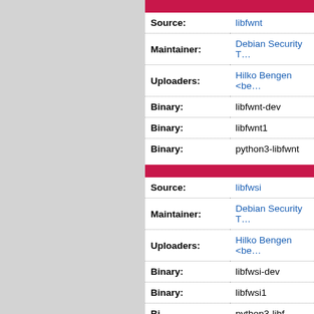| Field | Value |
| --- | --- |
| Source: | libfwnt |
| Maintainer: | Debian Security T… |
| Uploaders: | Hilko Bengen <be… |
| Binary: | libfwnt-dev |
| Binary: | libfwnt1 |
| Binary: | python3-libfwnt |
| Field | Value |
| --- | --- |
| Source: | libfwsi |
| Maintainer: | Debian Security T… |
| Uploaders: | Hilko Bengen <be… |
| Binary: | libfwsi-dev |
| Binary: | libfwsi1 |
| Binary: | python3-libf… |